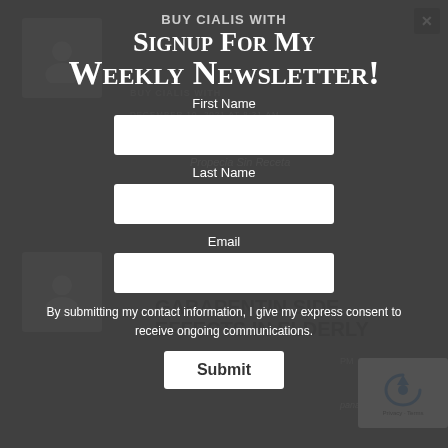[Figure (screenshot): Newsletter signup modal popup overlaid on a dark blog/forum page with user avatar placeholders and article titles in the background. A close button (X) is in the top right. The modal contains fields for First Name, Last Name, Email, a consent statement, and a Submit button. A reCAPTCHA widget appears in the bottom right corner.]
BUY CIALIS WITH
SIGNUP FOR MY
WEEKLY NEWSLETTER!
First Name
Last Name
Email
By submitting my contact information, I give my express consent to receive ongoing communications.
Submit